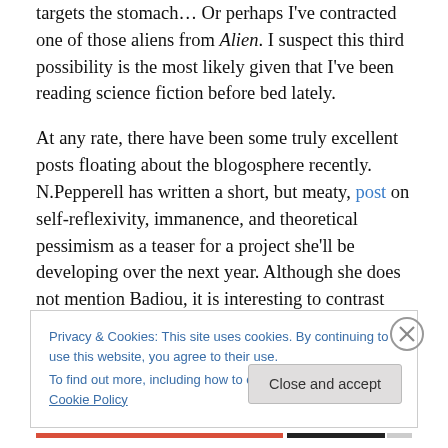targets the stomach… Or perhaps I've contracted one of those aliens from Alien. I suspect this third possibility is the most likely given that I've been reading science fiction before bed lately.
At any rate, there have been some truly excellent posts floating about the blogosphere recently. N.Pepperell has written a short, but meaty, post on self-reflexivity, immanence, and theoretical pessimism as a teaser for a project she'll be developing over the next year. Although she does not mention Badiou, it is interesting to contrast
Privacy & Cookies: This site uses cookies. By continuing to use this website, you agree to their use.
To find out more, including how to control cookies, see here: Cookie Policy
Close and accept